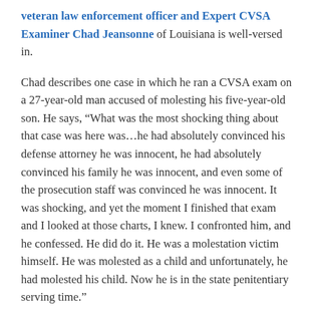veteran law enforcement officer and Expert CVSA Examiner Chad Jeansonne of Louisiana is well-versed in.
Chad describes one case in which he ran a CVSA exam on a 27-year-old man accused of molesting his five-year-old son. He says, “What was the most shocking thing about that case was here was…he had absolutely convinced his defense attorney he was innocent, he had absolutely convinced his family he was innocent, and even some of the prosecution staff was convinced he was innocent. It was shocking, and yet the moment I finished that exam and I looked at those charts, I knew. I confronted him, and he confessed. He did do it. He was a molestation victim himself. He was molested as a child and unfortunately, he had molested his child. Now he is in the state penitentiary serving time.”
Eventually, that man will be released, and, like other